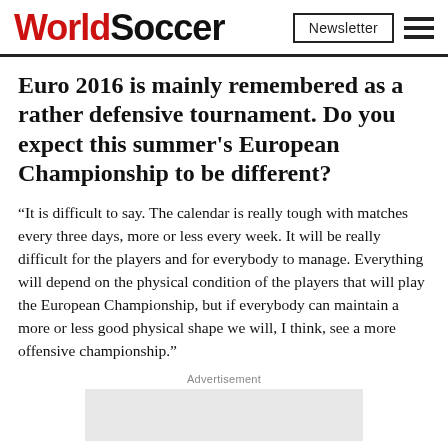WorldSoccer | Newsletter
Euro 2016 is mainly remembered as a rather defensive tournament. Do you expect this summer's European Championship to be different?
“It is difficult to say. The calendar is really tough with matches every three days, more or less every week. It will be really difficult for the players and for everybody to manage. Everything will depend on the physical condition of the players that will play the European Championship, but if everybody can maintain a more or less good physical shape we will, I think, see a more offensive championship.”
Advertisement